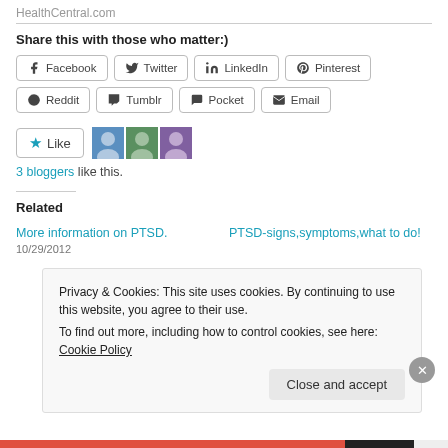HealthCentral.com
Share this with those who matter:)
[Figure (other): Social sharing buttons: Facebook, Twitter, LinkedIn, Pinterest, Reddit, Tumblr, Pocket, Email]
[Figure (other): Like button with star icon and 3 blogger avatars]
3 bloggers like this.
Related
More information on PTSD.
10/29/2012
PTSD-signs,symptoms,what to do!
Privacy & Cookies: This site uses cookies. By continuing to use this website, you agree to their use.
To find out more, including how to control cookies, see here: Cookie Policy